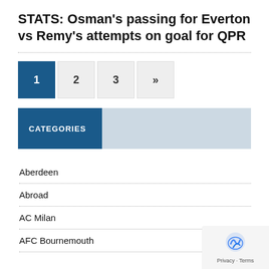STATS: Osman's passing for Everton vs Remy's attempts on goal for QPR
1
2
3
»
CATEGORIES
Aberdeen
Abroad
AC Milan
AFC Bournemouth